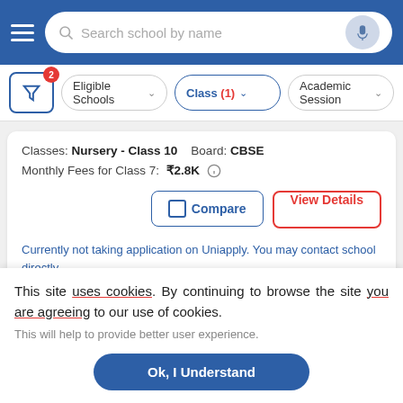Search school by name
Eligible Schools | Class (1) | Academic Session
Classes: Nursery - Class 10   Board: CBSE
Monthly Fees for Class 7: ₹2.8K
Compare   View Details
Currently not taking application on Uniapply. You may contact school directly.
[Figure (photo): Interior photo of a school building ceiling/corridor]
This site uses cookies. By continuing to browse the site you are agreeing to our use of cookies.
This will help to provide better user experience.
Ok, I Understand